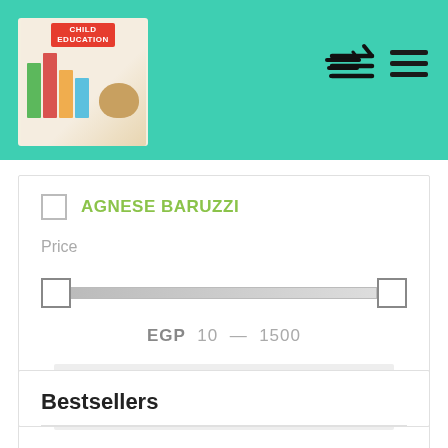[Figure (screenshot): App header with teal/green background, Child Education logo on left, cart and hamburger menu icons on right]
AGNESE BARUZZI
Price
[Figure (other): Price range slider from 10 to 1500 EGP with two handle squares on a horizontal track]
EGP  10  -  1500
FILTER
Bestsellers